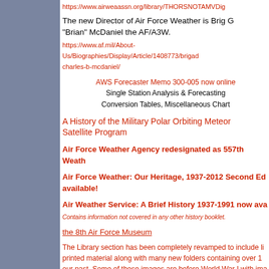an index who contributed to the magazine. It is filed as a p... https://www.airweaassn.org/library/THORSNOTAMVDigit...
The new Director of Air Force Weather is Brig G... "Brian" McDaniel the AF/A3W.
https://www.af.mil/About-Us/Biographies/Display/Article/1408773/brigad... charles-b-mcdaniel/
AWS Forecaster Memo 300-005 now online...
Single Station Analysis & Forecasting
Conversion Tables, Miscellaneous Chart
A History of the Military Polar Orbiting Meteor... Satellite Program
Air Force Weather Agency redesignated as 557th Weath...
Air Force Weather: Our Heritage, 1937-2012 Second Ed... available!
Air Weather Service: A Brief History 1937-1991 now ava...
Contains information not covered in any other history booklet.
the 8th Air Force Museum
The Library section has been completely revamped to include li... printed material along with many new folders containing over 1... our past.  Some of these images are before World War I with ima... War II, Korea, Vietnam, Aircraft, Weather Instruments and I...